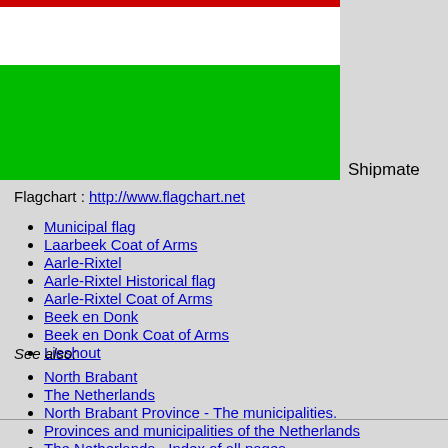[Figure (illustration): Flag with horizontal stripes: red (top, thin), white (middle), green (bottom, wide)]
Shipmate
Flagchart : http://www.flagchart.net
Municipal flag
Laarbeek Coat of Arms
Aarle-Rixtel
Aarle-Rixtel Historical flag
Aarle-Rixtel Coat of Arms
Beek en Donk
Beek en Donk Coat of Arms
Lieshout
See also:
North Brabant
The Netherlands
North Brabant Province - The municipalities.
Provinces and municipalities of the Netherlands
The Netherlands - Index of all pages